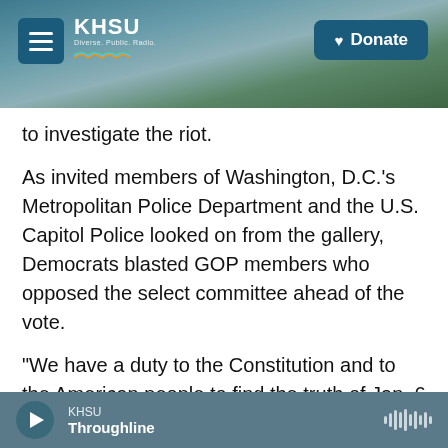KHSU — Donate
to investigate the riot.
As invited members of Washington, D.C.'s Metropolitan Police Department and the U.S. Capitol Police looked on from the gallery, Democrats blasted GOP members who opposed the select committee ahead of the vote.
"We have a duty to the Constitution and to the American people to find the truth of Jan. 6 and to ensure that such an assault on our democracy can never happen again," House Speaker Nancy Pelosi, D-Calif., said shortly before acknowledging the
KHSU Throughline